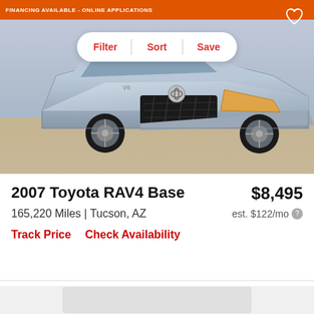[Figure (photo): Orange banner at top of car dealership page with text 'FINANCING AVAILABLE - ONLINE APPLICATIONS'. A silver 2007 Toyota RAV4 SUV photographed from the front-right angle in a parking lot.]
Filter    Sort    Save
2007 Toyota RAV4 Base    $8,495
165,220 Miles | Tucson, AZ    est. $122/mo
Track Price    Check Availability